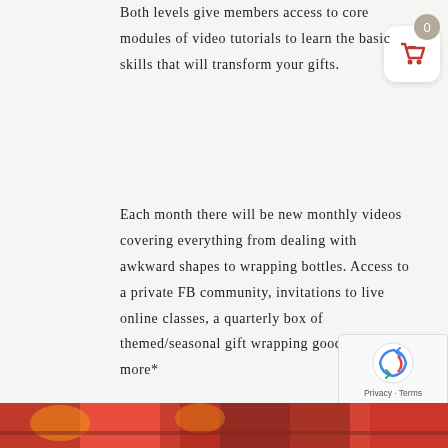Both levels give members access to core modules of video tutorials to learn the basic skills that will transform your gifts.
[Figure (screenshot): Shopping cart widget with badge showing 0 and red basket icon on white rounded square background]
Each month there will be new monthly videos covering everything from dealing with awkward shapes to wrapping bottles. Access to a private FB community, invitations to live online classes, a quarterly box of themed/seasonal gift wrapping goodies and more*
Being a member of the Academy is not only a great way to learn new skills in your own time but you will be part of a community of like minded people. Click below to join
[Figure (screenshot): Google reCAPTCHA widget with rotating arrows logo and Privacy - Terms links]
[Figure (photo): Bottom strip showing colorful gift wrapping materials]